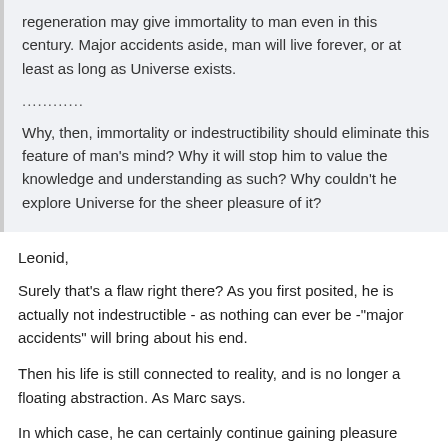regeneration may give immortality to man even in this century. Major accidents aside, man will live forever, or at least as long as Universe exists.
............
Why, then, immortality or indestructibility should eliminate this feature of man's mind? Why it will stop him to value the knowledge and understanding as such? Why couldn't he explore Universe for the sheer pleasure of it?
Leonid,
Surely that's a flaw right there? As you first posited, he is actually not indestructible - as nothing can ever be -"major accidents" will bring about his end.
Then his life is still connected to reality, and is no longer a floating abstraction. As Marc says.
In which case, he can certainly continue gaining pleasure from cognition and exploration for as long as he lives (or chooses to.)